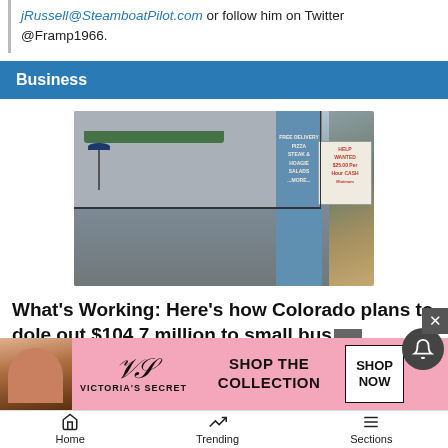jrussell@SteamboatPilot.com or follow him on Twitter @Framp1966.
Business
[Figure (photo): Exterior of a pizza restaurant with a blue door sign listing Pizza, Steaks, Hoagie, Salads and a Help Wanted sign showing $25.00 per hour CASH]
What's Working: Here's how Colorado plans to dole out $104.7 million to small bus...
12h a...
[Figure (advertisement): Victoria's Secret advertisement: Shop the Collection - Shop Now button]
Home  Trending  Sections